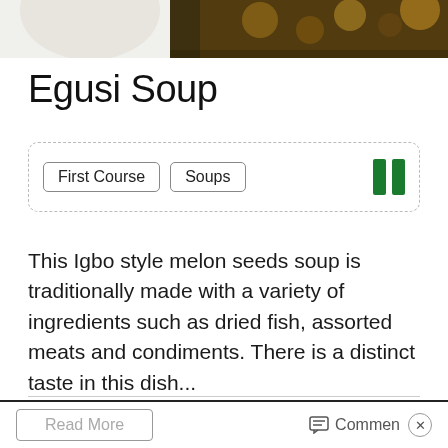[Figure (photo): Top portion of a food photograph showing a dish — Egusi Soup — partially cropped at the top of the page]
Egusi Soup
First Course   Soups   [Nigerian flag icon]
This Igbo style melon seeds soup is traditionally made with a variety of ingredients such as dried fish, assorted meats and condiments. There is a distinct taste in this dish...
Chef's Pencil Staff   May 9, 2021   Like 4